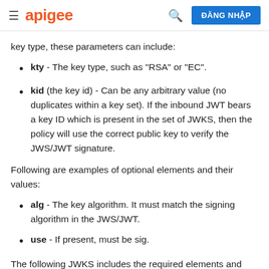apigee   ĐĂNG NHẬP
key type, these parameters can include:
kty - The key type, such as "RSA" or "EC".
kid (the key id) - Can be any arbitrary value (no duplicates within a key set). If the inbound JWT bears a key ID which is present in the set of JWKS, then the policy will use the correct public key to verify the JWS/JWT signature.
Following are examples of optional elements and their values:
alg - The key algorithm. It must match the signing algorithm in the JWS/JWT.
use - If present, must be sig.
The following JWKS includes the required elements and